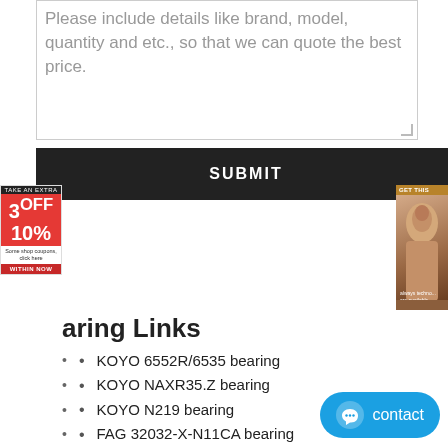Please include details like brand, model, quantity and etc., so that we can quote the best price.
SUBMIT
Bearing Links
KOYO 6552R/6535 bearing
KOYO NAXR35.Z bearing
KOYO N219 bearing
FAG 32032-X-N11CA bearing
INA NA4834 bearing
KOYO 303/22XR bearing
KOYO NF226 bearing
NTN E-EE171000D/171450/171451D bearing
NSK NUP313EM bearing
NTN 4T-2580/2523 bearing
NSK 7320A bearing
NTN 6813N bearing
NACHI 740/742 bearing
TIMKEN 23220YM bearing